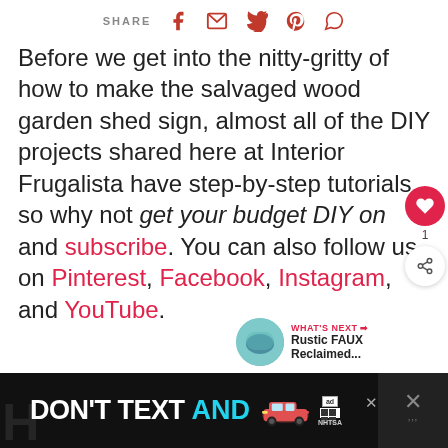SHARE [facebook] [email] [twitter] [pinterest] [whatsapp]
Before we get into the nitty-gritty of how to make the salvaged wood garden shed sign, almost all of the DIY projects shared here at Interior Frugalista have step-by-step tutorials so why not get your budget DIY on and subscribe. You can also follow us on Pinterest, Facebook, Instagram, and YouTube.
[Figure (other): What's Next promo block with circular thumbnail image and text 'Rustic FAUX Reclaimed...']
[Figure (other): Advertisement banner: DON'T TEXT AND [car image] ad badge NHTSA with close button]